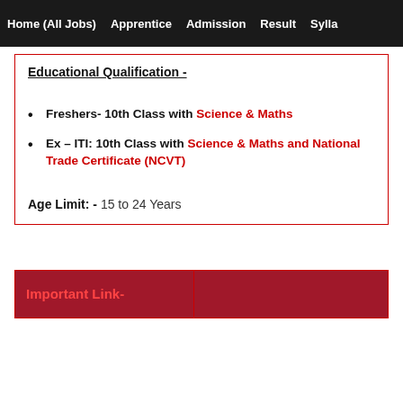Home (All Jobs)  Apprentice  Admission  Result  Sylla
Educational Qualification -
Freshers- 10th Class with Science & Maths
Ex – ITI: 10th Class with Science & Maths and National Trade Certificate (NCVT)
Age Limit: - 15 to 24 Years
| Important Link- |  |
| --- | --- |